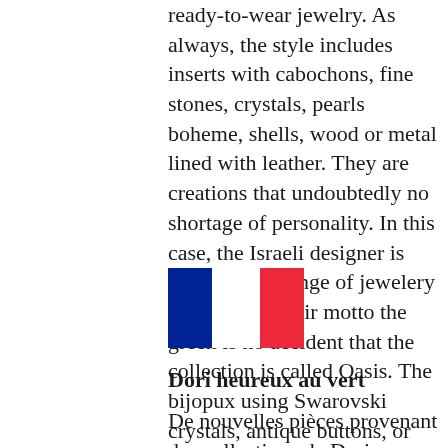ready-to-wear jewelry. As always, the style includes inserts with cabochons, fine stones, crystals, pearls boheme, shells, wood or metal lined with leather. They are creations that undoubtedly no shortage of personality. In this case, the Israeli designer is adept with a range of jewelery that have as their motto the green is no accident that the collection is called Oasis. The bijopux using Swarovski crystals, antique buttons, or items made of glass, fabric and trimmings.
[Figure (illustration): French flag (tricolor: blue, white, red vertical stripes)]
Dori heureux au vert
De nouvelles pièces provenant des collections de Dori Csengeri. Il ya des pièces uniques, mais aussi bijoux prêt-à-porter. Ce sont toujours des bijoux haut de b...